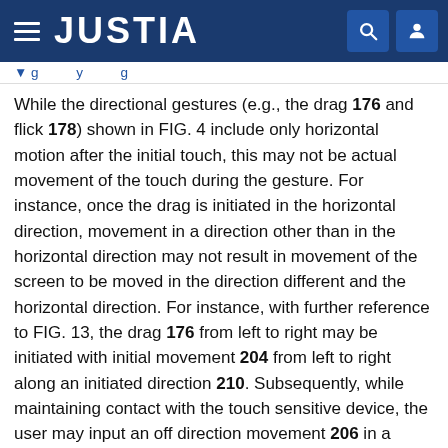JUSTIA
While the directional gestures (e.g., the drag 176 and flick 178) shown in FIG. 4 include only horizontal motion after the initial touch, this may not be actual movement of the touch during the gesture. For instance, once the drag is initiated in the horizontal direction, movement in a direction other than in the horizontal direction may not result in movement of the screen to be moved in the direction different and the horizontal direction. For instance, with further reference to FIG. 13, the drag 176 from left to right may be initiated with initial movement 204 from left to right along an initiated direction 210. Subsequently, while maintaining contact with the touch sensitive device, the user may input an off direction movement 206 in a direction different than the initiated direction 210. In this regard, the off direction movement 206 may not result in any movement of a screen